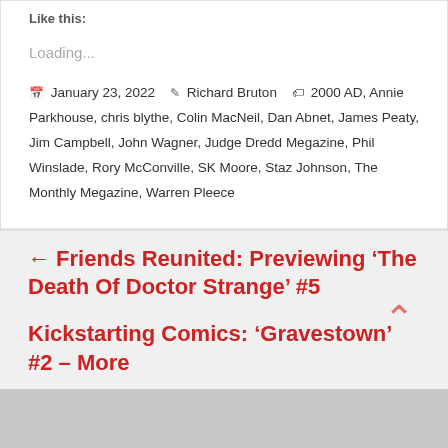Like this:
Loading...
January 23, 2022  Richard Bruton  2000 AD, Annie Parkhouse, chris blythe, Colin MacNeil, Dan Abnet, James Peaty, Jim Campbell, John Wagner, Judge Dredd Megazine, Phil Winslade, Rory McConville, SK Moore, Staz Johnson, The Monthly Megazine, Warren Pleece
← Friends Reunited: Previewing ‘The Death Of Doctor Strange’ #5
Kickstarting Comics: ‘Gravestown’ #2 – More